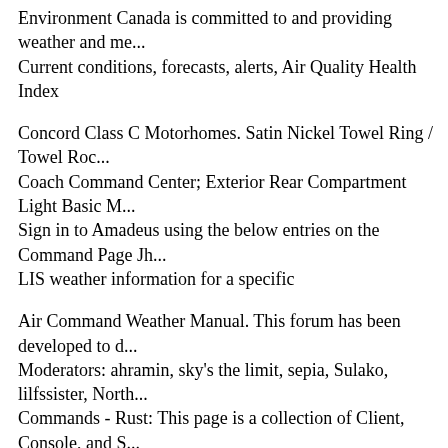Environment Canada is committed to and providing weather and me... Current conditions, forecasts, alerts, Air Quality Health Index
Concord Class C Motorhomes. Satin Nickel Towel Ring / Towel Roc... Coach Command Center; Exterior Rear Compartment Light Basic M... Sign in to Amadeus using the below entries on the Command Page Jh... LIS weather information for a specific
Air Command Weather Manual. This forum has been developed to d... Moderators: ahramin, sky's the limit, sepia, Sulako, lilfssister, North... Commands - Rust: This page is a collection of Client, Console, and S... used in Rust. Press F1 to open the console. Command
Air Command Weather Manual - Free в†i AvCanada's Mentor Progra... aviation experience in: в†i Wasaya в†i Kivalliq Air/Keewatin Air Ge... Command weather manual.. [Canada. Transport Canada.; Canada. Ca... Command.]
Download Air Command Weather Manual free. 10/28/2016 (TP 9352... Weather Manual provides detailed text explaining the interpretation o...